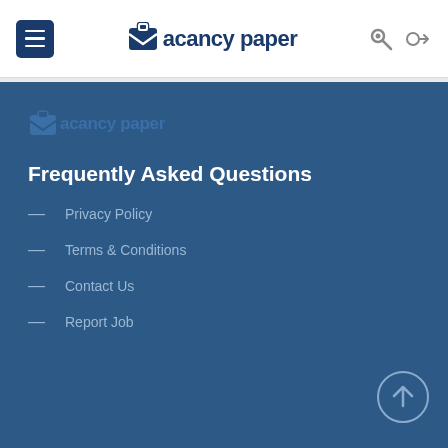Vacancy paper — navigation header with hamburger menu, logo, key and login icons
[Figure (logo): Vacancy paper logo in dark blue footer section]
Frequently Asked Questions
Privacy Policy
Terms & Conditions
Contact Us
Report Job